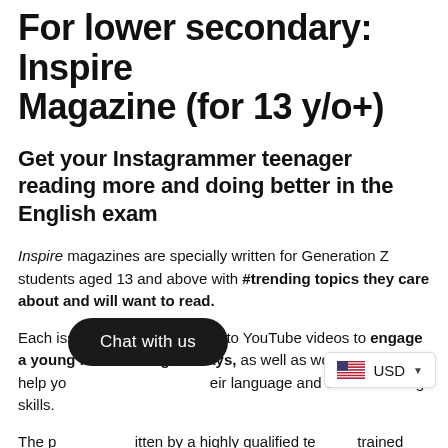For lower secondary: Inspire Magazine (for 13 y/o+)
Get your Instagrammer teenager reading more and doing better in the English exam
Inspire magazines are specially written for Generation Z students aged 13 and above with #trending topics they care about and will want to read.
Each issue contains QR codes to YouTube videos to engage a young reader in digital ways, as well as worksheets to help your [children develop] their language and critical thinking skills.
The [pages are] written by a highly qualified te[am of] trained former teachers to help secondary school students do